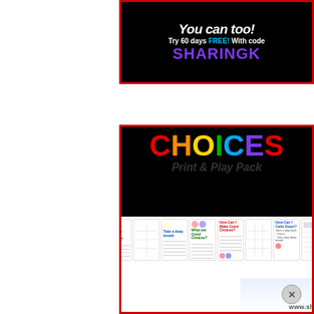[Figure (infographic): Top promotional banner with black background and red border showing 'You can too! Try 60 days FREE! With code SHARINGK' in white and purple text]
[Figure (infographic): Choices Print & Play Pack educational product image showing colorful 'CHOICES' title with rainbow letters and worksheet preview cards including 'What are Good Choices?', 'How Can I Make Good Choices?', 'How Can I Calm Down?' worksheets. Bottom shows www.sharingkindergarten.com]